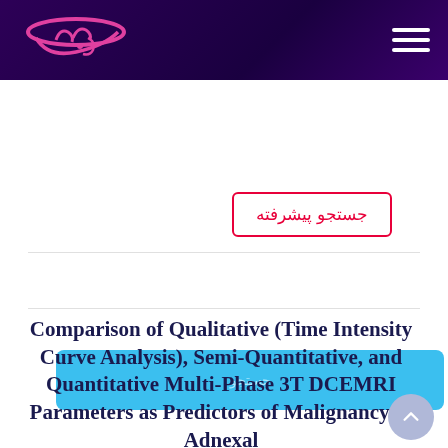[Figure (logo): Website logo with pink/magenta Arabic calligraphy on dark purple header background]
جستجو پیشرفته
جستجو
Comparison of Qualitative (Time Intensity Curve Analysis), Semi-Quantitative, and Quantitative Multi-Phase 3T DCEMRI Parameters as Predictors of Malignancy in Adnexal